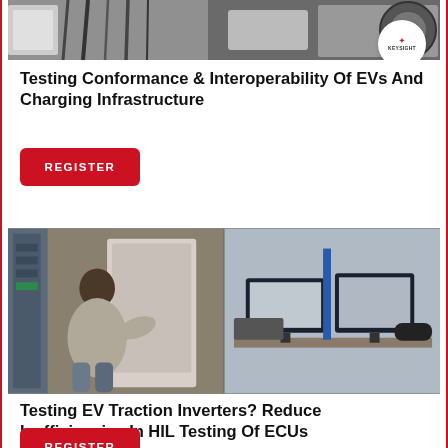[Figure (photo): Photo of EV charging infrastructure equipment — cables and charging units, with Keysight logo badge overlay in bottom-right corner]
Testing Conformance & Interoperability Of EVs And Charging Infrastructure
REGISTER
[Figure (photo): Two-panel photo: left panel shows a man working on electronic test equipment in a lab; right panel shows a lab workbench with monitors and test equipment. NI (ni.com) logo badge overlay in bottom-right corner.]
Testing EV Traction Inverters? Reduce Inefficiencies In HIL Testing Of ECUs
REGISTER